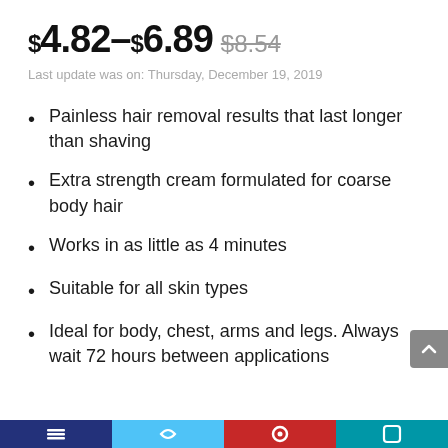$4.82 – $6.89 $8.54
Last update was on: Thursday, December 19, 2019
Painless hair removal results that last longer than shaving
Extra strength cream formulated for coarse body hair
Works in as little as 4 minutes
Suitable for all skin types
Ideal for body, chest, arms and legs. Always wait 72 hours between applications
Social media share bar